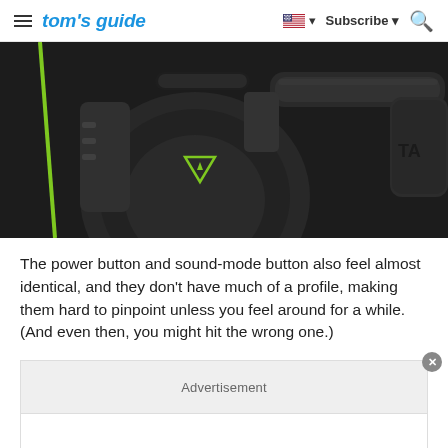tom's guide | Subscribe
[Figure (photo): Close-up photo of a black gaming headset (Turtle Beach) showing the ear cup, headband, and microphone arm with green accent markings/logo on dark background]
The power button and sound-mode button also feel almost identical, and they don't have much of a profile, making them hard to pinpoint unless you feel around for a while. (And even then, you might hit the wrong one.)
Advertisement